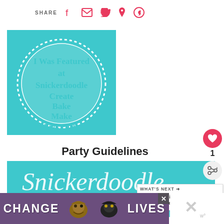[Figure (infographic): Share bar with Facebook, email, Twitter, Pinterest, WhatsApp icons in red/pink]
[Figure (illustration): Teal square badge with white dotted oval circle containing text: I Was Featured at Snickerdoodle Create Bake Make Link Party]
Party Guidelines
[Figure (illustration): Teal banner with white cursive text reading 'Snickerdoodle' with decorative dotted lines]
[Figure (infographic): Like/heart button (red circle with heart icon, count of 1) and share button on right side]
[Figure (screenshot): What's Next panel: thumbnail image and text 'Snickerdoodle Create Bake...']
[Figure (photo): Purple advertisement banner at bottom showing cat faces and text 'CHANGE LIVES']